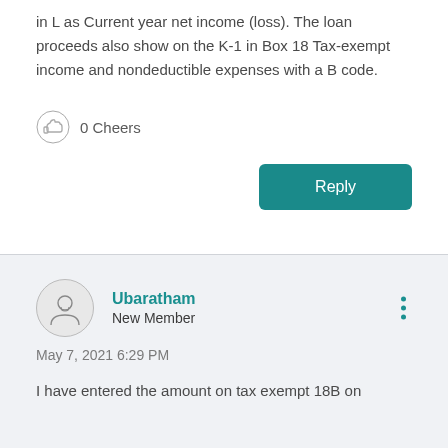in L as Current year net income (loss). The loan proceeds also show on the K-1 in Box 18 Tax-exempt income and nondeductible expenses with a B code.
0 Cheers
Reply
Ubaratham
New Member
May 7, 2021 6:29 PM
I have entered the amount on tax exempt 18B on